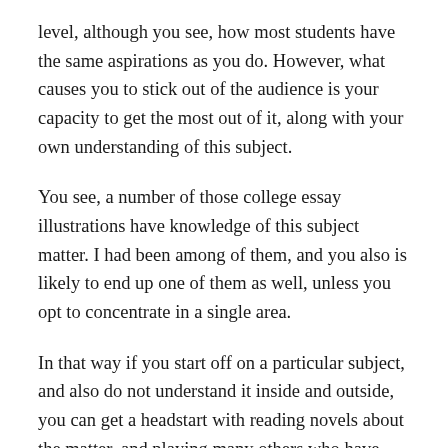level, although you see, how most students have the same aspirations as you do. However, what causes you to stick out of the audience is your capacity to get the most out of it, along with your own understanding of this subject.
You see, a number of those college essay illustrations have knowledge of this subject matter. I had been among of them, and you also is likely to end up one of them as well, unless you opt to concentrate in a single area.
In that way if you start off on a particular subject, and also do not understand it inside and outside, you can get a headstart with reading novels about the matter, and playing many others who have learned it, then creating notes of everything you find outthere. This really is known as search.
Research will take several types, and also the producing